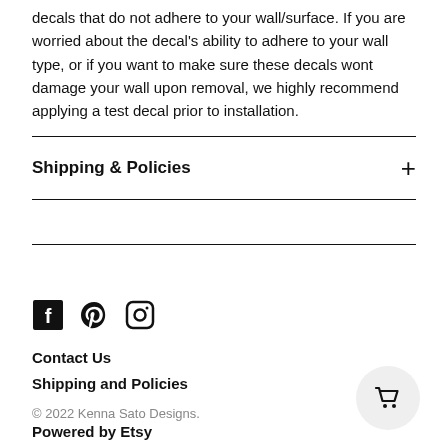decals that do not adhere to your wall/surface. If you are worried about the decal's ability to adhere to your wall type, or if you want to make sure these decals wont damage your wall upon removal, we highly recommend applying a test decal prior to installation.
Shipping & Policies
Contact Us
Shipping and Policies
© 2022 Kenna Sato Designs.
Powered by Etsy